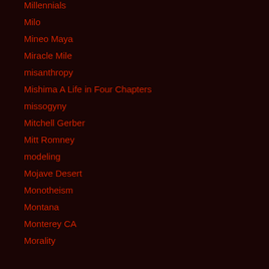Millennials
Milo
Mineo Maya
Miracle Mile
misanthropy
Mishima A Life in Four Chapters
missogyny
Mitchell Gerber
Mitt Romney
modeling
Mojave Desert
Monotheism
Montana
Monterey CA
Morality